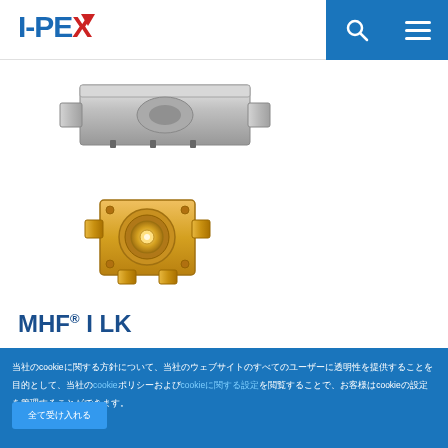I-PEX
[Figure (photo): Metallic silver RF connector component shown from top angle]
[Figure (photo): Gold SMA-style surface-mount RF connector (MHF I LK), top-down view showing circular contact]
MHF® I LK
当社のcookieに関する方針について、当社のウェブサイトのすべてのユーザーに透明性を提供することを目的として、当社のcookieポリシーおよびcookieに関する設定を閲覧することで、お客様はcookieの設定を管理することができます。
全て受け入れる